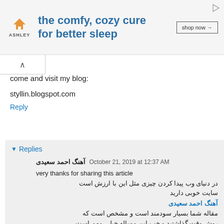[Figure (other): Ashley Furniture advertisement banner: orange house logo, text 'the comfy, cozy cure for better sleep', 'shop now →' button]
come and visit my blog:
styllin.blogspot.com
Reply
▾ Replies
آهنگ احمد سعیدی  October 21, 2019 at 12:37 AM
very thanks for sharing this article
در دنیای وب پیدا کردن چیزی مثل این با ارزش است
سایت خوبی دارید
آهنگ احمد سعیدی
مقاله شما بسیار سودمند است و مشخص است که
روش وقت گذاشتید و خب این مساله خیلی مهم است
آهنگ علی یاسینی
اگر اجازه بدهید در کانال و اینستاگرام و فیس بوک از
مقاله شما با رعایت کپی رایت و حق نشر استفاده کنم